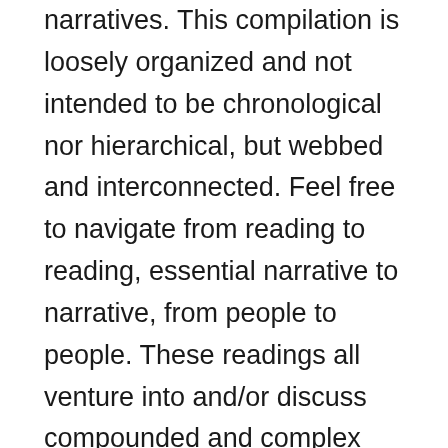narratives. This compilation is loosely organized and not intended to be chronological nor hierarchical, but webbed and interconnected. Feel free to navigate from reading to reading, essential narrative to narrative, from people to people. These readings all venture into and/or discuss compounded and complex trauma/lived experiences that are interlocked with structural violence and everyday systemic conditions. For our BIPoC and QTBIPoC readers in particular, please safeguard your peace of mind and take care as you go through these resources. Know that you can exit the tab immediately if you